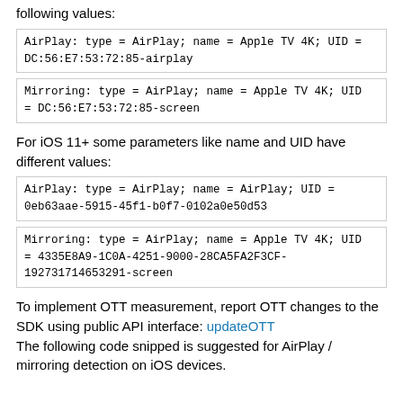following values:
AirPlay: type = AirPlay; name = Apple TV 4K; UID = DC:56:E7:53:72:85-airplay
Mirroring: type = AirPlay; name = Apple TV 4K; UID = DC:56:E7:53:72:85-screen
For iOS 11+ some parameters like name and UID have different values:
AirPlay: type = AirPlay; name = AirPlay; UID = 0eb63aae-5915-45f1-b0f7-0102a0e50d53
Mirroring: type = AirPlay; name = Apple TV 4K; UID = 4335E8A9-1C0A-4251-9000-28CA5FA2F3CF-192731714653291-screen
To implement OTT measurement, report OTT changes to the SDK using public API interface: updateOTT The following code snipped is suggested for AirPlay / mirroring detection on iOS devices.